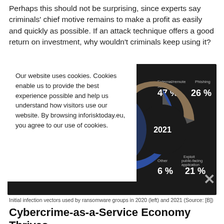Perhaps this should not be surprising, since experts say criminals' chief motive remains to make a profit as easily and quickly as possible. If an attack technique offers a good return on investment, why wouldn't criminals keep using it?
[Figure (donut-chart): Donut chart showing initial infection vectors for ransomware groups in 2021. External/remote services 47%, Phishing 26%, Exploit public-facing application 21%, Other 6%. Partially obscured by cookie consent overlay.]
Initial infection vectors used by ransomware groups in 2020 (left) and 2021 (Source: [B])
Cybercrime-as-a-Service Economy Thrives